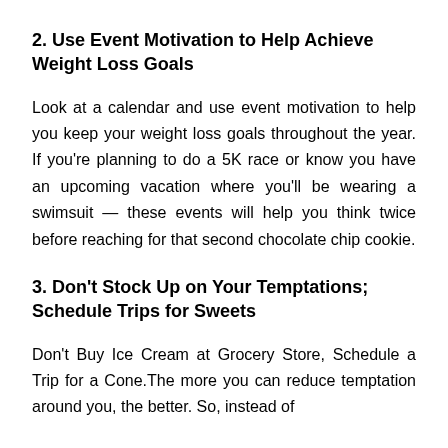2. Use Event Motivation to Help Achieve Weight Loss Goals
Look at a calendar and use event motivation to help you keep your weight loss goals throughout the year. If you're planning to do a 5K race or know you have an upcoming vacation where you'll be wearing a swimsuit — these events will help you think twice before reaching for that second chocolate chip cookie.
3. Don't Stock Up on Your Temptations; Schedule Trips for Sweets
Don't Buy Ice Cream at Grocery Store, Schedule a Trip for a Cone.The more you can reduce temptation around you, the better. So, instead of